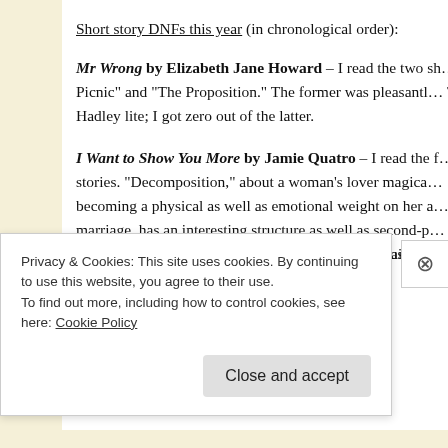Short story DNFs this year (in chronological order):
Mr Wrong by Elizabeth Jane Howard – I read the two sh… Picnic" and "The Proposition." The former was pleasantl… Tessa Hadley lite; I got zero out of the latter.
I Want to Show You More by Jamie Quatro – I read the f… stories. "Decomposition," about a woman's lover magica… becoming a physical as well as emotional weight on her a… marriage, has an interesting structure as well as second-p… narration, but I fear the collection as a whole will just be… note treatment of a woman's obsession with her affair
Privacy & Cookies: This site uses cookies. By continuing to use this website, you agree to their use.
To find out more, including how to control cookies, see here: Cookie Policy
Close and accept